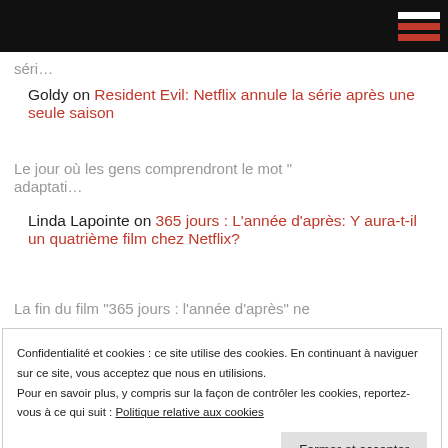séri…
Goldy on Resident Evil: Netflix annule la série après une seule saison
Le jour où les gens comprendront le mot " adaptati…
Linda Lapointe on 365 jours : L'année d'après: Y aura-t-il un quatrième film chez Netflix?
La fin du film "365 jours : l'année d'après" ne
Confidentialité et cookies : ce site utilise des cookies. En continuant à naviguer sur ce site, vous acceptez que nous en utilisions. Pour en savoir plus, y compris sur la façon de contrôler les cookies, reportez-vous à ce qui suit : Politique relative aux cookies
Fermer et accepter
C'est intriguant ! Incroyable